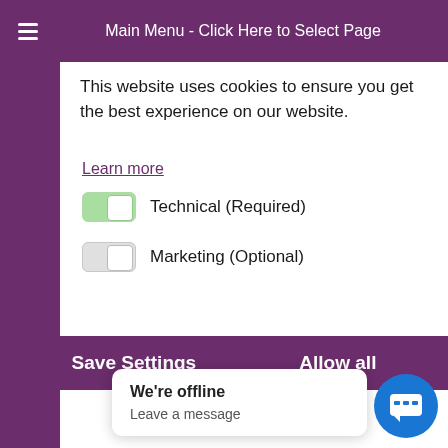Main Menu - Click Here to Select Page
This website uses cookies to ensure you get the best experience on our website.
Learn more
Technical (Required)
Marketing (Optional)
Save Settings    Allow all
d: " We ha d
We're offline
Leave a message